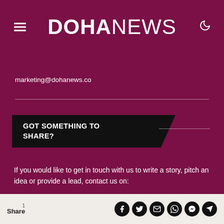DOHANEWS
marketing@dohanews.co
GOT SOMETHING TO SHARE?
If you would like to get in touch with us to write a story, pitch an idea or provide a lead, contact us on:
stories@dohanews.co
1 Share [Facebook] [Twitter] [Email] [WhatsApp] [Messenger] [Telegram]